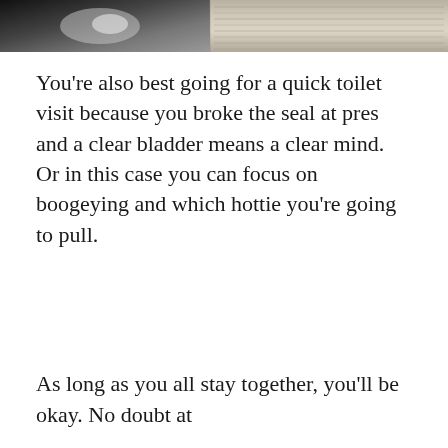[Figure (photo): Top strip of a photo showing dark and light areas, possibly an indoor scene with dark ceiling/floor on the left and light wooden or fabric texture on the right.]
You're also best going for a quick toilet visit because you broke the seal at pres and a clear bladder means a clear mind. Or in this case you can focus on boogeying and which hottie you're going to pull.
As long as you all stay together, you'll be okay. No doubt at